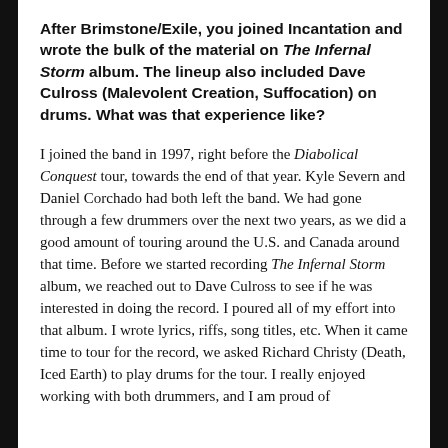After Brimstone/Exile, you joined Incantation and wrote the bulk of the material on The Infernal Storm album. The lineup also included Dave Culross (Malevolent Creation, Suffocation) on drums. What was that experience like?
I joined the band in 1997, right before the Diabolical Conquest tour, towards the end of that year. Kyle Severn and Daniel Corchado had both left the band. We had gone through a few drummers over the next two years, as we did a good amount of touring around the U.S. and Canada around that time. Before we started recording The Infernal Storm album, we reached out to Dave Culross to see if he was interested in doing the record. I poured all of my effort into that album. I wrote lyrics, riffs, song titles, etc. When it came time to tour for the record, we asked Richard Christy (Death, Iced Earth) to play drums for the tour. I really enjoyed working with both drummers, and I am proud of